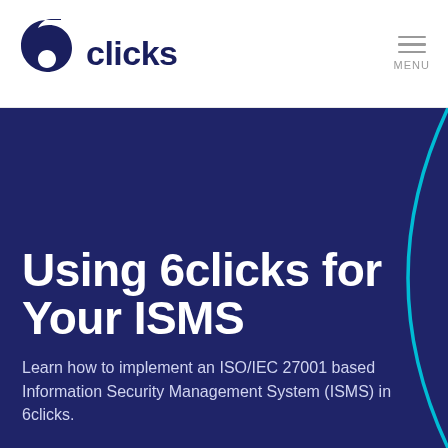[Figure (logo): 6clicks logo: dark navy '6' digit mark with 'clicks' wordmark in dark navy bold sans-serif]
[Figure (infographic): Hamburger menu icon with three horizontal lines and MENU label below in gray]
Using 6clicks for Your ISMS
Learn how to implement an ISO/IEC 27001 based Information Security Management System (ISMS) in 6clicks.